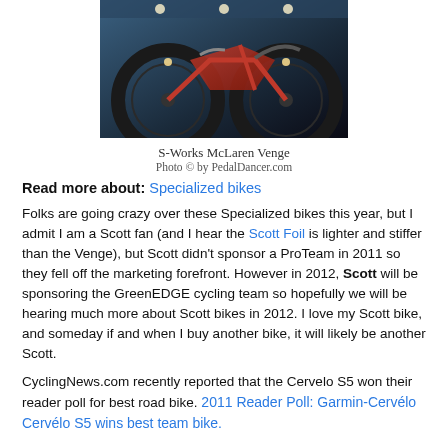[Figure (photo): Close-up photo of an S-Works McLaren Venge bicycle, showing the carbon frame, wheels, and red accents against a blue background.]
S-Works McLaren Venge
Photo © by PedalDancer.com
Read more about: Specialized bikes
Folks are going crazy over these Specialized bikes this year, but I admit I am a Scott fan (and I hear the Scott Foil is lighter and stiffer than the Venge), but Scott didn't sponsor a ProTeam in 2011 so they fell off the marketing forefront. However in 2012, Scott will be sponsoring the GreenEDGE cycling team so hopefully we will be hearing much more about Scott bikes in 2012. I love my Scott bike, and someday if and when I buy another bike, it will likely be another Scott.
CyclingNews.com recently reported that the Cervelo S5 won their reader poll for best road bike. 2011 Reader Poll: Garmin-Cervélo Cervélo S5 wins best team bike.